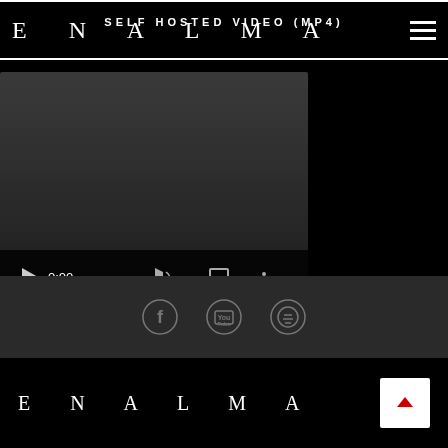ENALMA — SELF HOSTED VIDEO (MP4)
[Figure (screenshot): Embedded HTML5 video player showing 0:00 timecode with play button, volume, fullscreen, and more options controls. Progress bar shown at bottom.]
[Figure (infographic): Footer social media icons: Facebook, YouTube, Spotify]
ENALMA